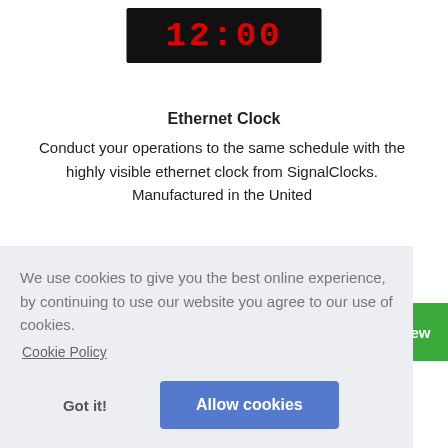[Figure (photo): Digital clock display showing 12:00 in red LED digits on a black background]
Ethernet Clock
Conduct your operations to the same schedule with the highly visible ethernet clock from SignalClocks. Manufactured in the United
We use cookies to give you the best online experience, by continuing to use our website you agree to our use of cookies.
Cookie Policy
Got it!
Allow cookies